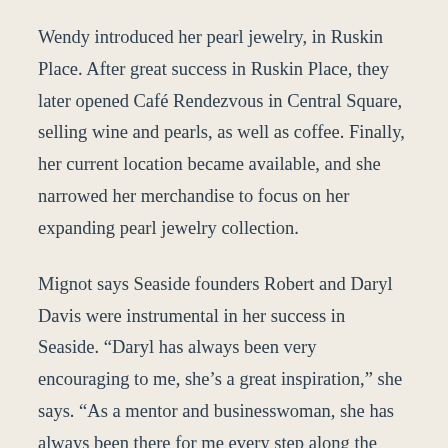Wendy introduced her pearl jewelry, in Ruskin Place. After great success in Ruskin Place, they later opened Café Rendezvous in Central Square, selling wine and pearls, as well as coffee. Finally, her current location became available, and she narrowed her merchandise to focus on her expanding pearl jewelry collection.
Mignot says Seaside founders Robert and Daryl Davis were instrumental in her success in Seaside. “Daryl has always been very encouraging to me, she’s a great inspiration,” she says. “As a mentor and businesswoman, she has always been there for me every step along the way and I have great respect for her. One thing that sticks out in my mind from my